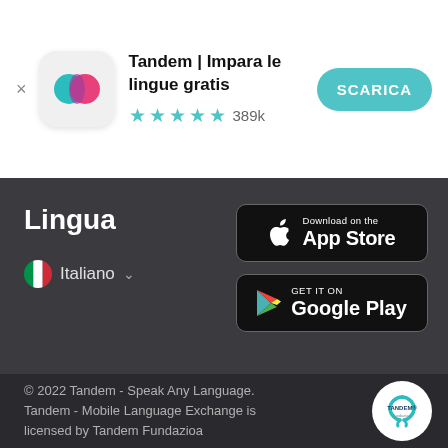Tandem | Impara le lingue gratis
★★★★½ 389k
SCARICA
Lingua
🇮🇹 Italiano ⌄
[Figure (logo): Download on the App Store button]
[Figure (logo): GET IT ON Google Play button]
© 2022 Tandem - Speak Any Language. Tandem - Mobile Language Exchange is licensed by Tandem Fundazioa
[Figure (logo): Tandem logo circular badge]